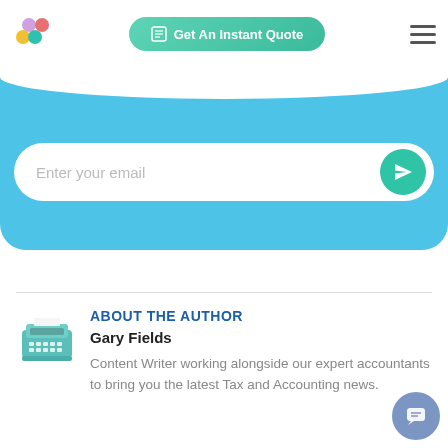[Figure (screenshot): Navigation bar with colorful plus logo, Get An Instant Quote green button, and hamburger menu]
[Figure (screenshot): Blue section with white curved top edge and email input field with send button]
ABOUT THE AUTHOR
Gary Fields
Content Writer working alongside our expert accountants to bring you the latest Tax and Accounting news.